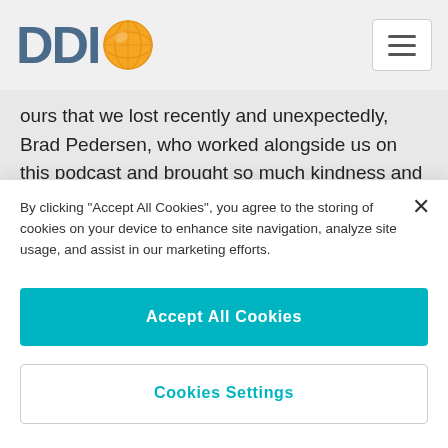[Figure (logo): DDI logo with orange globe icon and hamburger menu button]
ours that we lost recently and unexpectedly, Brad Pedersen, who worked alongside us on this podcast and brought so much kindness and humor to our team.
While we hope not to have to endure these tough moments at work, the reality is that most of us are touched by it at some point. And we know for you leaders out there there's not a lot of guidance or advanced preparation on how to handle these
By clicking "Accept All Cookies", you agree to the storing of cookies on your device to enhance site navigation, analyze site usage, and assist in our marketing efforts.
Accept All Cookies
Cookies Settings